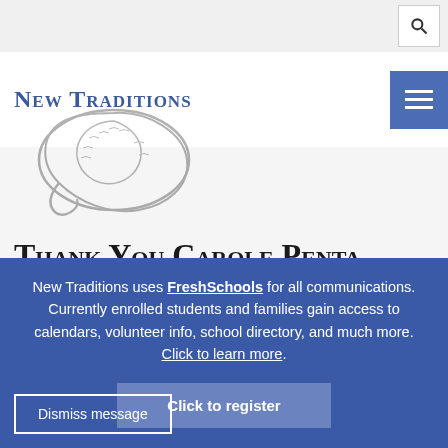New Traditions
[Figure (logo): Dragon/serpent ouroboros logo for New Traditions school]
Thank You Carole Penta
LONG LIVE THE MOTHER OF DRAGON (WALKS)
New Traditions uses FreshSchools for all communications. Currently enrolled students and families gain access to calendars, volunteer info, school directory, and much more. Click to learn more.
Click to register
Dismiss message